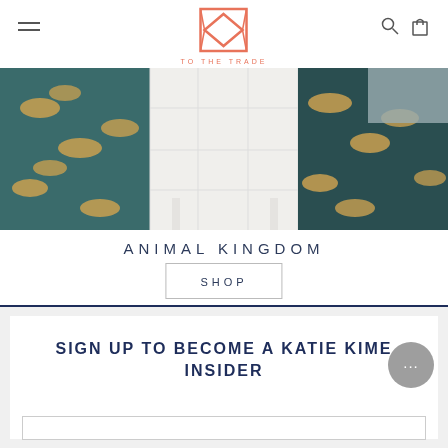[Figure (logo): Katie Kime 'To The Trade' logo — geometric diamond/box shape in coral/salmon color with text 'TO THE TRADE' below]
[Figure (photo): Hero image showing teal/dark green wallpaper with tiger pattern on left and right panels, white grid panel in center, arranged on a flat lay surface]
ANIMAL KINGDOM
SHOP
SIGN UP TO BECOME A KATIE KIME INSIDER